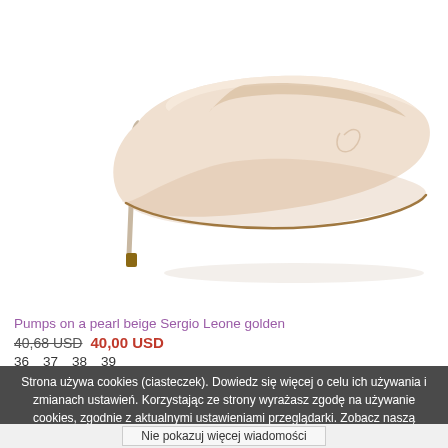[Figure (photo): A beige/pearl nude high heel stiletto pump shoe (Sergio Leone golden) on a white background, shown from the side.]
Pumps on a pearl beige Sergio Leone golden
40,68 USD  40,00 USD
36  37  38  39
Strona używa cookies (ciasteczek). Dowiedz się więcej o celu ich używania i zmianach ustawień. Korzystając ze strony wyrażasz zgodę na używanie cookies, zgodnie z aktualnymi ustawieniami przeglądarki. Zobacz naszą politykę prywatności.
Nie pokazuj więcej wiadomości